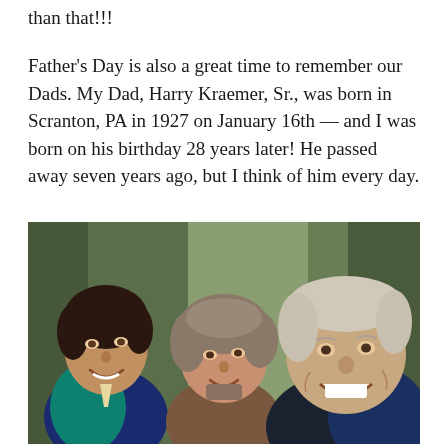than that!!!
Father's Day is also a great time to remember our Dads. My Dad, Harry Kraemer, Sr., was born in Scranton, PA in 1927 on January 16th — and I was born on his birthday 28 years later! He passed away seven years ago, but I think of him every day.
[Figure (photo): A smiling group photo of three people: a younger man on the left wearing a teal and dark jacket, a woman in the middle with short curly hair, and an older man on the right leaning in with a big smile.]